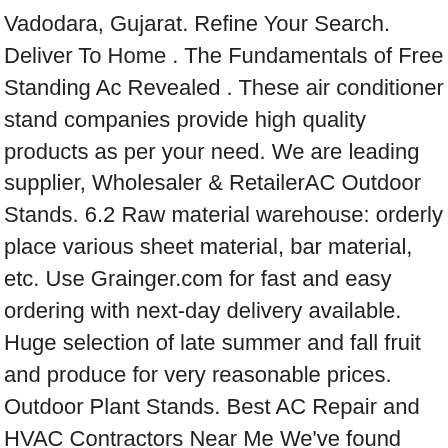Vadodara, Gujarat. Refine Your Search. Deliver To Home . The Fundamentals of Free Standing Ac Revealed . These air conditioner stand companies provide high quality products as per your need. We are leading supplier, Wholesaler & RetailerAC Outdoor Stands. 6.2 Raw material warehouse: orderly place various sheet material, bar material, etc. Use Grainger.com for fast and easy ordering with next-day delivery available. Huge selection of late summer and fall fruit and produce for very reasonable prices. Outdoor Plant Stands. Best AC Repair and HVAC Contractors Near Me We've found local, trusted contractors ready to help with your project. In addition, it charges additional to get a bigger unit. GO. Get it as soon as Wed, Jan 13. Call +91-8048720825. Any size can be customed depend on your requirement. Contact Us. Enjoy